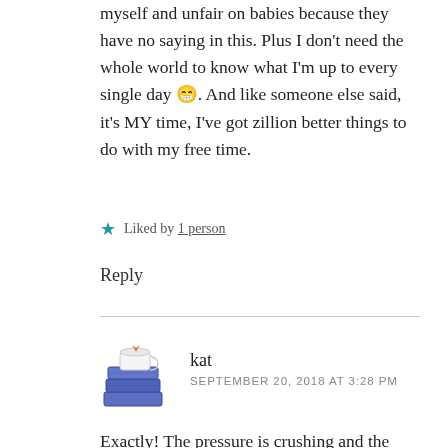myself and unfair on babies because they have no saying in this. Plus I don't need the whole world to know what I'm up to every single day 😁. And like someone else said, it's MY time, I've got zillion better things to do with my free time.
★ Liked by 1 person
Reply
kat
SEPTEMBER 20, 2018 AT 3:28 PM
Exactly! The pressure is crushing and the need for privacy, but still be able to share can be crippling. I applaud those who can be happy